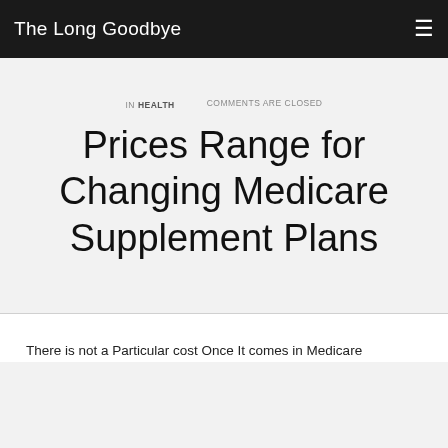The Long Goodbye
IN HEALTH   COMMENTS ARE CLOSED
Prices Range for Changing Medicare Supplement Plans
There is not a Particular cost Once It comes in Medicare